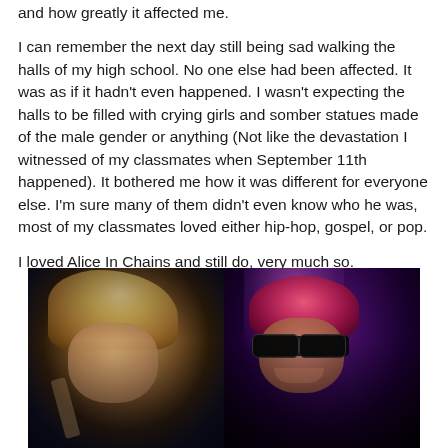and how greatly it affected me.
I can remember the next day still being sad walking the halls of my high school. No one else had been affected. It was as if it hadn't even happened. I wasn't expecting the halls to be filled with crying girls and somber statues made of the male gender or anything (Not like the devastation I witnessed of my classmates when September 11th happened). It bothered me how it was different for everyone else. I'm sure many of them didn't even know who he was, most of my classmates loved either hip-hop, gospel, or pop.
I loved Alice In Chains and still do, very much so.
[Figure (photo): Two side-by-side photos of musicians. Left: person with long blonde hair in a dimly lit setting. Right: person with pink/red hair wearing dark sunglasses under purple stage lighting.]